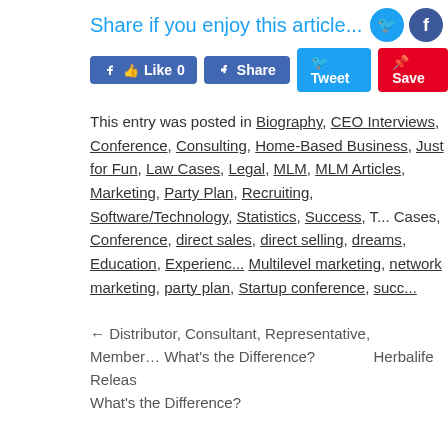Share if you enjoy this article...
[Figure (infographic): Social share buttons: Like 0 (Facebook), Share (Facebook), Tweet (Twitter), Save (Pinterest), plus Twitter, Facebook, Tumblr, Reddit circle icons]
This entry was posted in Biography, CEO Interviews, Conference, Consulting, Home-Based Business, Just for Fun, Law Cases, Legal, MLM, MLM Articles, Marketing, Party Plan, Recruiting, Software/Technology, Statistics, Success, T... Cases, Conference, direct sales, direct selling, dreams, Education, Experience, Multilevel marketing, network marketing, party plan, Startup conference, succ...
← Distributor, Consultant, Representative, Member… What's the Difference?   Herbalife Releas...